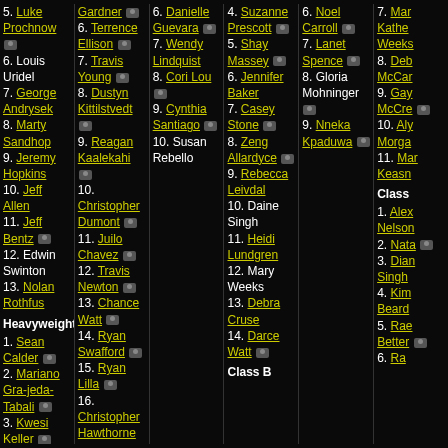5. Luke Prochnow [cam]
6. Louis Uridel
7. George Andrysek
8. Marty Sandhop
9. Jeremy Hopkins
10. Jeff Allen
11. Jeff Bentz [cam]
12. Edwin Swinton
13. Nolan Rothfus
Heavyweight
1. Sean Calder [cam]
2. Mariano Gra-jeda-Tabali [cam]
3. Kwesi Keller [cam]
4. Randy
Gardner [cam]
6. Terrence Ellison [cam]
7. Travis Young [cam]
8. Dustyn Kittilstvedt [cam]
9. Reagan Kaalekahi [cam]
10. Christopher Dumont [cam]
11. Juilo Chavez [cam]
12. Travis Newton [cam]
13. Chance Watt [cam]
14. Ryan Swafford [cam]
15. Ryan Lilla [cam]
16. Christopher Hawthorne
6. Danielle Guevara [cam]
7. Wendy Lindquist
8. Cori Lou [cam]
9. Cynthia Santiago [cam]
10. Susan Rebello
4. Suzanne Prescott [cam]
5. Shay Massey [cam]
6. Jennifer Baker
7. Casey Stone [cam]
8. Zeng Allardyce [cam]
9. Rebecca Leivdal
10. Daine Singh
11. Heidi Lundgren
12. Mary Weeks
13. Debra Cruse
14. Darce Watt [cam]
Class B
6. Noel Carroll [cam]
7. Lanet Spence [cam]
8. Gloria Mohninger [cam]
9. Nneka Kpaduwa [cam]
7. Mary Katherine Weeks
8. Deb McCar
9. Gay McCre [cam]
10. Aly Morgan
11. Mar Keasn
Class
1. Alex Nelson
2. Nata [cam]
3. Dian Singh
4. Kim Beard
5. Rae Better [cam]
6. Ra